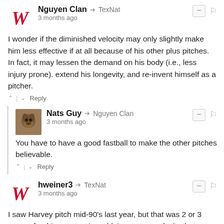Nguyen Clan → TexNat
3 months ago
I wonder if the diminished velocity may only slightly make him less effective if at all because of his other plus pitches. In fact, it may lessen the demand on his body (i.e., less injury prone). extend his longevity, and re-invent himself as a pitcher.
^ | ∨  Reply
Nats Guy → Nguyen Clan
3 months ago
You have to have a good fastball to make the other pitches believable.
^ | ∨  Reply
hweiner3 → TexNat
3 months ago
I saw Harvey pitch mid-90's last year, but that was 2 or 3 years after his surgery. I wouldn't count on velocity, but believe a determined Stras can become an excellent finesse pitcher even without a return of velocity. I will surely